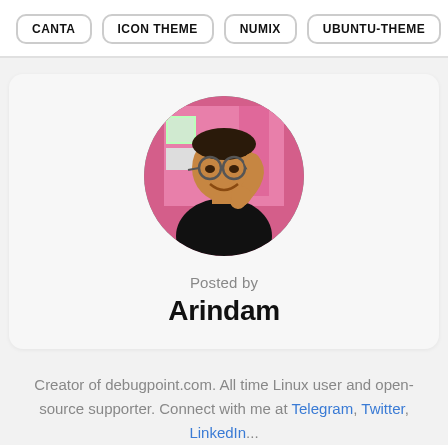CANTA
ICON THEME
NUMIX
UBUNTU-THEME
[Figure (photo): Circular profile photo of Arindam, a man smiling, wearing glasses and a black t-shirt, with a pink background.]
Posted by
Arindam
Creator of debugpoint.com. All time Linux user and open-source supporter. Connect with me at Telegram, Twitter, LinkedIn...